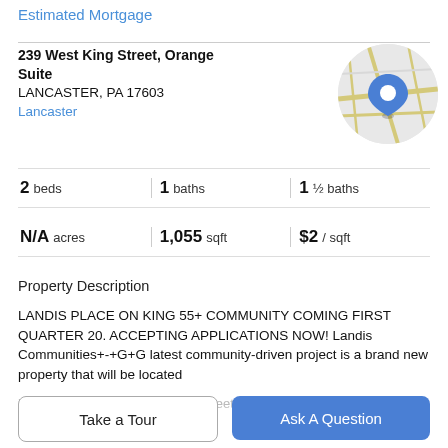Estimated Mortgage
239 West King Street, Orange Suite
LANCASTER, PA 17603
Lancaster
[Figure (map): Circular map thumbnail showing Lancaster location with blue pin marker]
| 2 beds | 1 baths | 1 ½ baths |
| N/A acres | 1,055 sqft | $2 / sqft |
Property Description
LANDIS PLACE ON KING 55+ COMMUNITY COMING FIRST QUARTER 20. ACCEPTING APPLICATIONS NOW! Landis Communities+-+G+G latest community-driven project is a brand new property that will be located
in Lancaster City on West King Street just steps away from
Take a Tour
Ask A Question